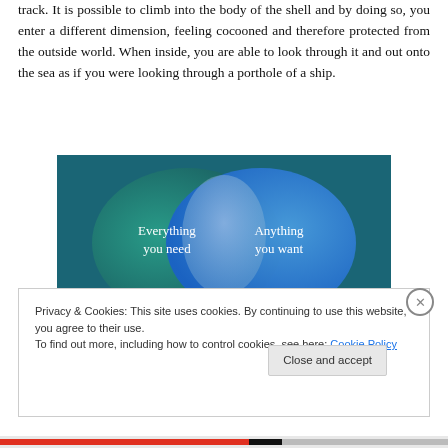track. It is possible to climb into the body of the shell and by doing so, you enter a different dimension, feeling cocooned and therefore protected from the outside world. When inside, you are able to look through it and out onto the sea as if you were looking through a porthole of a ship.
[Figure (illustration): Venn diagram style image with teal/green on left and blue on right, overlapping circle in center. Left text reads 'Everything you need', right text reads 'Anything you want'.]
Privacy & Cookies: This site uses cookies. By continuing to use this website, you agree to their use.
To find out more, including how to control cookies, see here: Cookie Policy
Close and accept